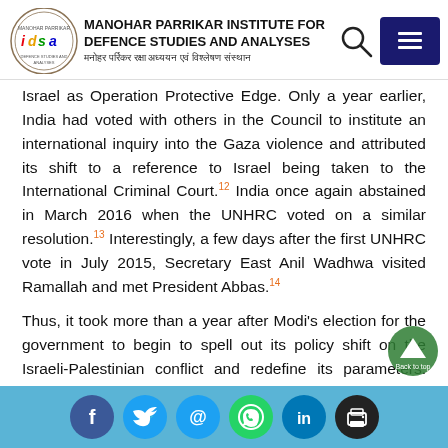MANOHAR PARRIKAR INSTITUTE FOR DEFENCE STUDIES AND ANALYSES | मनोहर पर्रिकर रक्षा अध्ययन एवं विश्लेषण संस्थान
Israel as Operation Protective Edge. Only a year earlier, India had voted with others in the Council to institute an international inquiry into the Gaza violence and attributed its shift to a reference to Israel being taken to the International Criminal Court.12 India once again abstained in March 2016 when the UNHRC voted on a similar resolution.13 Interestingly, a few days after the first UNHRC vote in July 2015, Secretary East Anil Wadhwa visited Ramallah and met President Abbas.14
Thus, it took more than a year after Modi's election for the government to begin to spell out its policy shift on the Israeli-Palestinian conflict and redefine its parameters. While it is keen to further bilate...
Social share icons: Facebook, Twitter, Email, WhatsApp, LinkedIn, Print